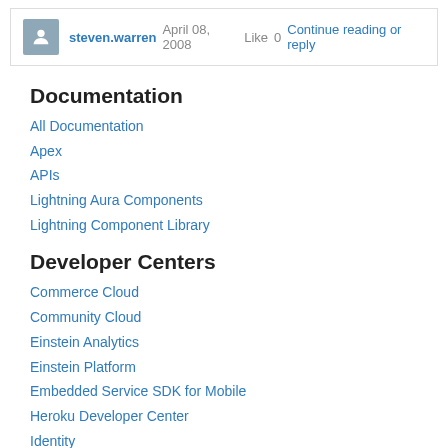steven.warren  April 08, 2008  Like 0  Continue reading or reply
Documentation
All Documentation
Apex
APIs
Lightning Aura Components
Lightning Component Library
Developer Centers
Commerce Cloud
Community Cloud
Einstein Analytics
Einstein Platform
Embedded Service SDK for Mobile
Heroku Developer Center
Identity
Integration and APIs
Lightning Apps
Lightning Flow
Marketing Cloud
Mobile Developer Center
Mulesoft Developer Center
Pardot Developer Center